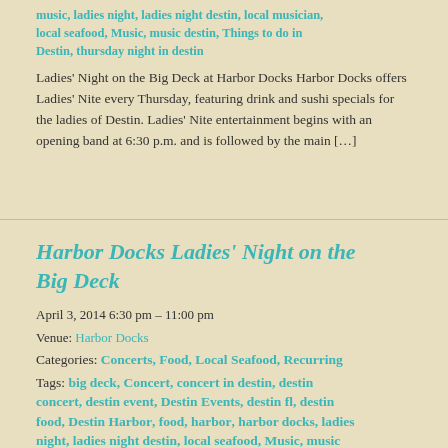music, ladies night, ladies night destin, local musician, local seafood, Music, music destin, Things to do in Destin, thursday night in destin
Ladies' Night on the Big Deck at Harbor Docks Harbor Docks offers Ladies' Nite every Thursday, featuring drink and sushi specials for the ladies of Destin. Ladies' Nite entertainment begins with an opening band at 6:30 p.m. and is followed by the main […]
Harbor Docks Ladies' Night on the Big Deck
April 3, 2014 6:30 pm – 11:00 pm
Venue: Harbor Docks
Categories: Concerts, Food, Local Seafood, Recurring
Tags: big deck, Concert, concert in destin, destin concert, destin event, Destin Events, destin fl, destin food, Destin Harbor, food, harbor, harbor docks, ladies night, ladies night destin, local seafood, Music, music